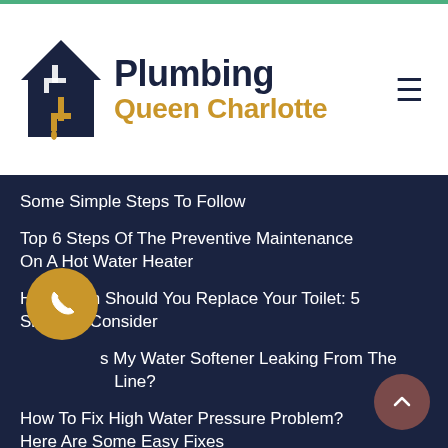Plumbing Queen Charlotte
Some Simple Steps To Follow
Top 6 Steps Of The Preventive Maintenance On A Hot Water Heater
How Often Should You Replace Your Toilet: 5 Signs To Consider
Is My Water Softener Leaking From The Line?
How To Fix High Water Pressure Problem? Here Are Some Easy Fixes